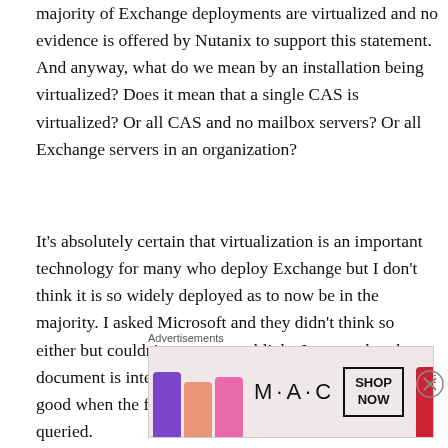majority of Exchange deployments are virtualized and no evidence is offered by Nutanix to support this statement. And anyway, what do we mean by an installation being virtualized? Does it mean that a single CAS is virtualized? Or all CAS and no mailbox servers? Or all Exchange servers in an organization?
It's absolutely certain that virtualization is an important technology for many who deploy Exchange but I don't think it is so widely deployed as to now be in the majority. I asked Microsoft and they didn't think so either but couldn't comment publicly. I accept that the document is intended for marketing purposes but it is not good when the first statement in the text can be so easily queried.
Advertisements
[Figure (photo): MAC cosmetics advertisement showing lipsticks in purple, peach, pink, and red colors with MAC logo and SHOP NOW button]